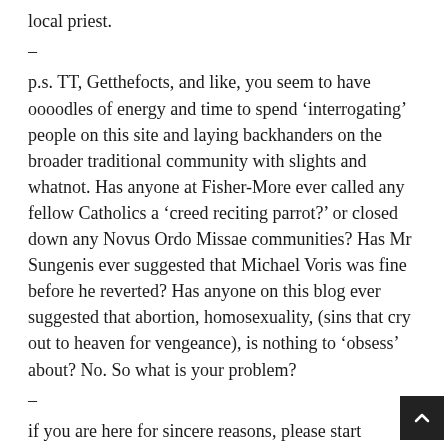local priest.
–
p.s. TT, Getthefocts, and like, you seem to have oooodles of energy and time to spend ‘interrogating’ people on this site and laying backhanders on the broader traditional community with slights and whatnot. Has anyone at Fisher-More ever called any fellow Catholics a ‘creed reciting parrot?’ or closed down any Novus Ordo Missae communities? Has Mr Sungenis ever suggested that Michael Voris was fine before he reverted? Has anyone on this blog ever suggested that abortion, homosexuality, (sins that cry out to heaven for vengeance), is nothing to ‘obsess’ about? No. So what is your problem?
–
if you are here for sincere reasons, please start to evince them or you just sound like troublemakers; and with the Catholic Fashion and Ecclesiastical Pornpeddlingpornocops on the beat with their batons out, it’s simply bad manners added to expensive insults